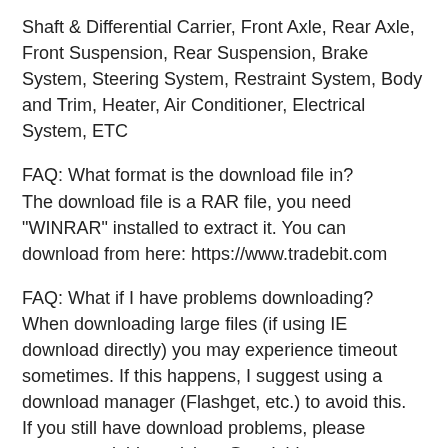Shaft & Differential Carrier, Front Axle, Rear Axle, Front Suspension, Rear Suspension, Brake System, Steering System, Restraint System, Body and Trim, Heater, Air Conditioner, Electrical System, ETC
FAQ: What format is the download file in?
The download file is a RAR file, you need "WINRAR" installed to extract it. You can download from here: https://www.tradebit.com
FAQ: What if I have problems downloading?
When downloading large files (if using IE download directly) you may experience timeout sometimes. If this happens, I suggest using a download manager (Flashget, etc.) to avoid this.
If you still have download problems, please contact tradebit at: tickets@tradebit.com